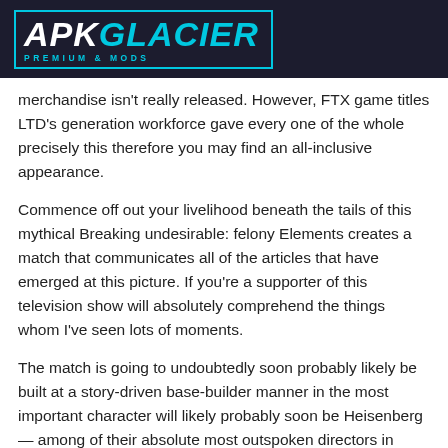APK GLACIER PREMIUM & MODS
merchandise isn't really released. However, FTX game titles LTD's generation workforce gave every one of the whole precisely this therefore you may find an all-inclusive appearance.
Commence off out your livelihood beneath the tails of this mythical Breaking undesirable: felony Elements creates a match that communicates all of the articles that have emerged at this picture. If you're a supporter of this television show will absolutely comprehend the things whom I've seen lots of moments.
The match is going to undoubtedly soon probably likely be built at a story-driven base-builder manner in the most important character will likely probably soon be Heisenberg — among of their absolute most outspoken directors in medication trafficking offenders.